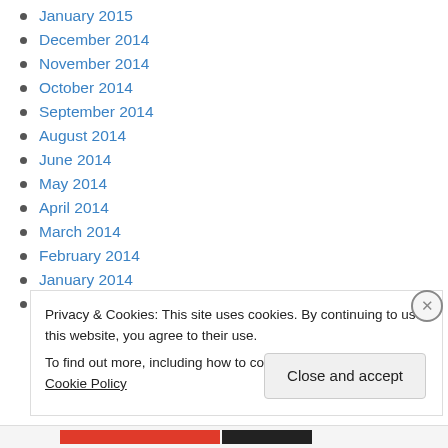January 2015
December 2014
November 2014
October 2014
September 2014
August 2014
June 2014
May 2014
April 2014
March 2014
February 2014
January 2014
December 2013
Privacy & Cookies: This site uses cookies. By continuing to use this website, you agree to their use.
To find out more, including how to control cookies, see here: Cookie Policy